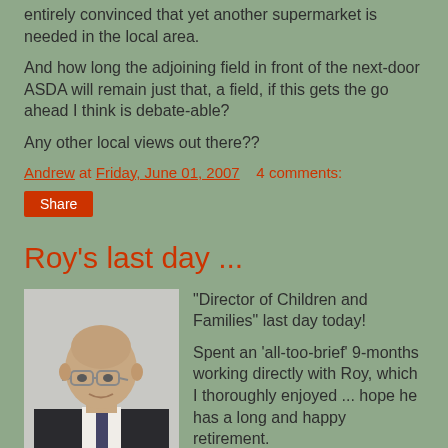entirely convinced that yet another supermarket is needed in the local area.
And how long the adjoining field in front of the next-door ASDA will remain just that, a field, if this gets the go ahead I think is debate-able?
Any other local views out there??
Andrew at Friday, June 01, 2007   4 comments:
Share
Roy's last day ...
[Figure (photo): Portrait photo of a middle-aged bald man wearing glasses and a dark suit with tie]
"Director of Children and Families" last day today!

Spent an 'all-too-brief' 9-months working directly with Roy, which I thoroughly enjoyed ... hope he has a long and happy retirement.